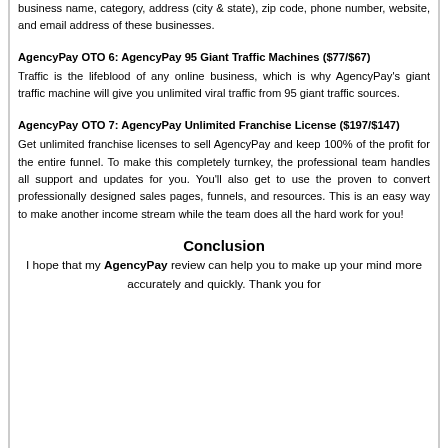business name, category, address (city & state), zip code, phone number, website, and email address of these businesses.
AgencyPay OTO 6: AgencyPay 95 Giant Traffic Machines ($77/$67)
Traffic is the lifeblood of any online business, which is why AgencyPay's giant traffic machine will give you unlimited viral traffic from 95 giant traffic sources.
AgencyPay OTO 7: AgencyPay Unlimited Franchise License ($197/$147)
Get unlimited franchise licenses to sell AgencyPay and keep 100% of the profit for the entire funnel. To make this completely turnkey, the professional team handles all support and updates for you. You'll also get to use the proven to convert professionally designed sales pages, funnels, and resources. This is an easy way to make another income stream while the team does all the hard work for you!
Conclusion
I hope that my AgencyPay review can help you to make up your mind more accurately and quickly. Thank you for